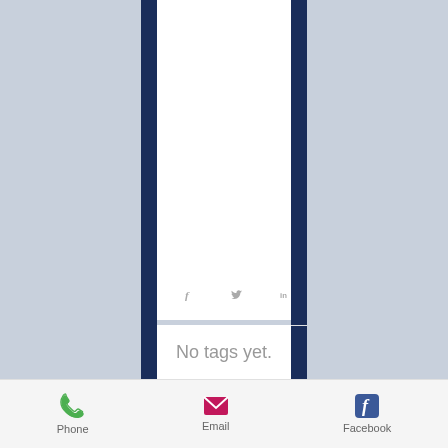[Figure (screenshot): Social sharing icons: Facebook (f), Twitter (bird), LinkedIn (in) displayed in gray]
[Figure (illustration): Heart/favorite icon outline in red/coral color]
No tags yet.
Phone   Email   Facebook